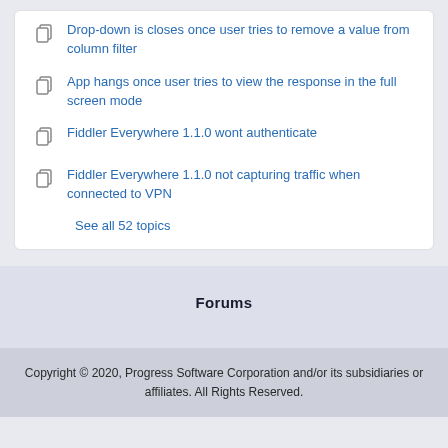Drop-down is closes once user tries to remove a value from column filter
App hangs once user tries to view the response in the full screen mode
Fiddler Everywhere 1.1.0 wont authenticate
Fiddler Everywhere 1.1.0 not capturing traffic when connected to VPN
See all 52 topics
Forums
Copyright © 2020, Progress Software Corporation and/or its subsidiaries or affiliates. All Rights Reserved.